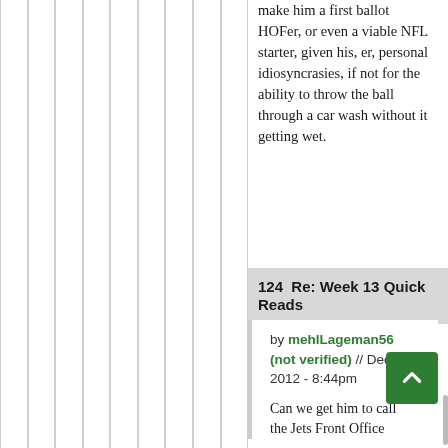make him a first ballot HOFer, or even a viable NFL starter, given his, er, personal idiosyncrasies, if not for the ability to throw the ball through a car wash without it getting wet.
124  Re: Week 13 Quick Reads
by mehlLageman56 (not verified) // Dec 2012 - 8:44pm
Can we get him to call the Jets Front Office